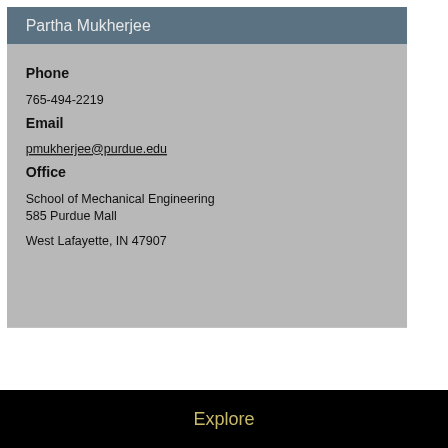Partha Mukherjee
Phone
765-494-2219
Email
pmukherjee@purdue.edu
Office
School of Mechanical Engineering
585 Purdue Mall
West Lafayette, IN 47907
Explore